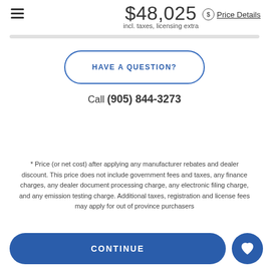$48,025 incl. taxes, licensing extra Price Details
HAVE A QUESTION?
Call (905) 844-3273
* Price (or net cost) after applying any manufacturer rebates and dealer discount. This price does not include government fees and taxes, any finance charges, any dealer document processing charge, any electronic filing charge, and any emission testing charge. Additional taxes, registration and license fees may apply for out of province purchasers
CONTINUE